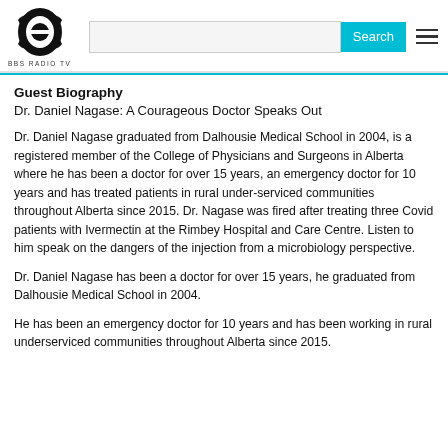BBS RADIO TV [logo, search bar, Search button, hamburger menu]
Guest Biography
Dr. Daniel Nagase: A Courageous Doctor Speaks Out
Dr. Daniel Nagase graduated from Dalhousie Medical School in 2004, is a registered member of the College of Physicians and Surgeons in Alberta where he has been a doctor for over 15 years, an emergency doctor for 10 years and has treated patients in rural under-serviced communities throughout Alberta since 2015. Dr. Nagase was fired after treating three Covid patients with Ivermectin at the Rimbey Hospital and Care Centre. Listen to him speak on the dangers of the injection from a microbiology perspective.
Dr. Daniel Nagase has been a doctor for over 15 years, he graduated from Dalhousie Medical School in 2004.
He has been an emergency doctor for 10 years and has been working in rural underserviced communities throughout Alberta since 2015.